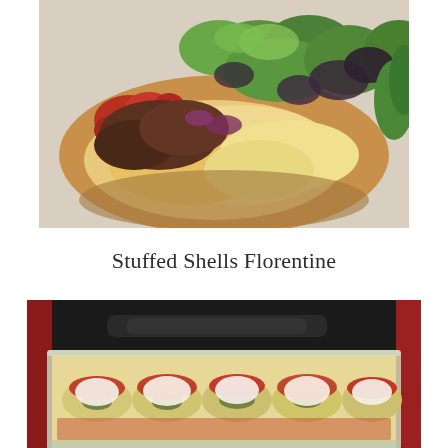[Figure (photo): Close-up overhead photo of a baked dish — appears to be taco or Mexican-style pizza/casserole with melted cheese, red sauce, red onion, and fresh mixed greens (lettuce and purple basil) on top, served on a beige/cream surface.]
Stuffed Shells Florentine
[Figure (photo): Photo of a glass baking dish containing stuffed pasta shells topped with red tomato sauce and dollops of white melted mozzarella cheese, inside or near a red Dutch oven or pot. The background shows a dark oven interior.]